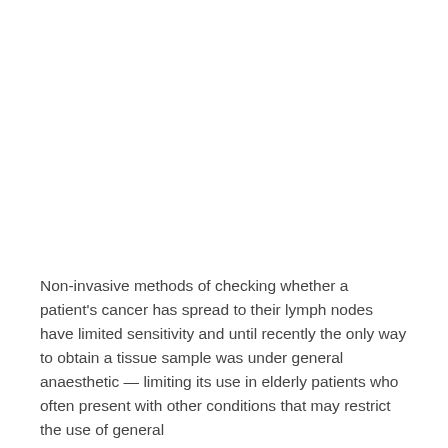Non-invasive methods of checking whether a patient's cancer has spread to their lymph nodes have limited sensitivity and until recently the only way to obtain a tissue sample was under general anaesthetic — limiting its use in elderly patients who often present with other conditions that may restrict the use of general